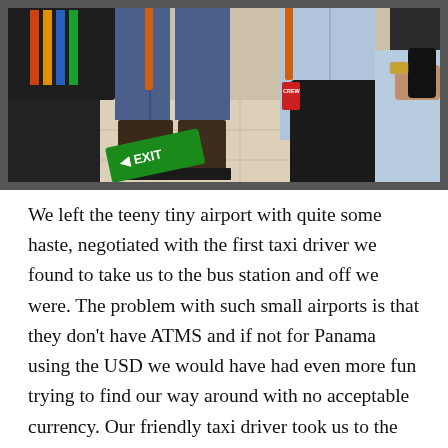[Figure (photo): Airport waiting area photo showing people seated on blue chairs. Visible elements include a dark backpack with colorful stripes on the left, a person in jeans with heavy brown boots in the center, a green directional sign on the floor, and on the right side a person with light blue jeans, a black backpack with a red CREW tag, and another person using a smartphone while wearing a watch.]
We left the teeny tiny airport with quite some haste, negotiated with the first taxi driver we found to take us to the bus station and off we were. The problem with such small airports is that they don't have ATMS and if not for Panama using the USD we would have had even more fun trying to find our way around with no acceptable currency. Our friendly taxi driver took us to the first bus station and graciously accepted our dollars. Thanks to Emma's quick thinking and asking our driver